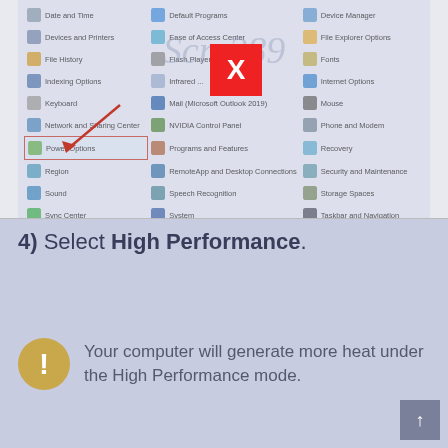[Figure (screenshot): Windows Control Panel showing icons including Devices and Printers, Ease of Access Center, File Explorer Options, File History, Flash Player, Fonts, Indexing Options, Infrared, Internet Options, Keyboard, Mail (Microsoft Outlook 2019), Mouse, Network and Sharing Center, NVIDIA Control Panel, Phone and Modem, Power Options (highlighted with red box), Programs and Features, Recovery, Region, RemoteApp and Desktop Connections, Security and Maintenance, Sound, Speech Recognition, Storage Spaces, Sync Center, System, Taskbar and Navigation. A red X popup box is visible in the center. An arrow points to Power Options.]
4) Select High Performance.
Your computer will generate more heat under the High Performance mode.